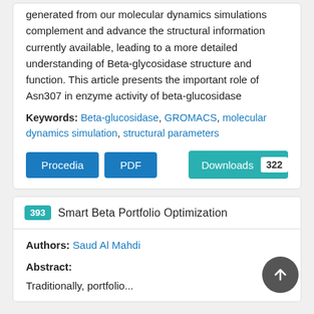generated from our molecular dynamics simulations complement and advance the structural information currently available, leading to a more detailed understanding of Beta-glycosidase structure and function. This article presents the important role of Asn307 in enzyme activity of beta-glucosidase
Keywords: Beta-glucosidase, GROMACS, molecular dynamics simulation, structural parameters
Procedia | PDF | Downloads 322
393 Smart Beta Portfolio Optimization
Authors: Saud Al Mahdi
Abstract:
Traditionally, portfolio...